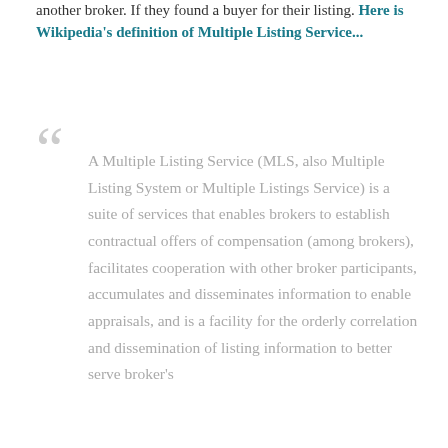another broker. If they found a buyer for their listing. Here is Wikipedia's definition of Multiple Listing Service...
“ A Multiple Listing Service (MLS, also Multiple Listing System or Multiple Listings Service) is a suite of services that enables brokers to establish contractual offers of compensation (among brokers), facilitates cooperation with other broker participants, accumulates and disseminates information to enable appraisals, and is a facility for the orderly correlation and dissemination of listing information to better serve broker's